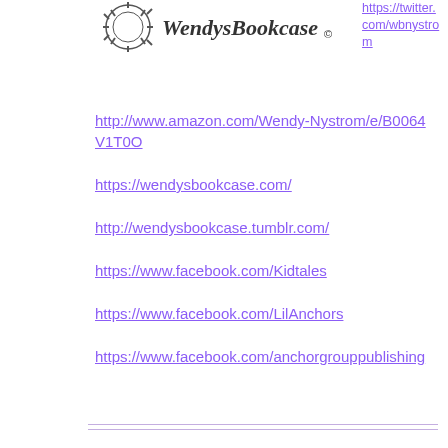[Figure (logo): WendysBookcase logo with decorative gear/sun illustration and stylized text 'WendysBookcase' with copyright symbol]
https://twitter.com/wbnystrom
http://www.amazon.com/Wendy-Nystrom/e/B0064V1T0O
https://wendysbookcase.com/
http://wendysbookcase.tumblr.com/
https://www.facebook.com/Kidtales
https://www.facebook.com/LilAnchors
https://www.facebook.com/anchorgrouppublishing